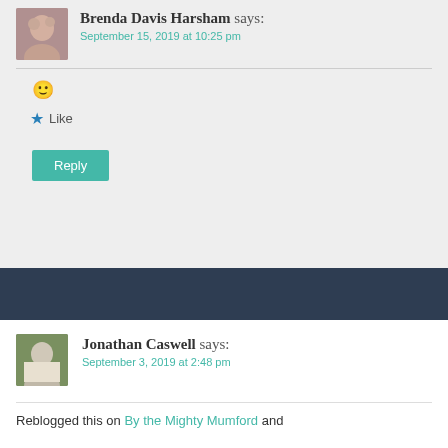Brenda Davis Harsham says:
September 15, 2019 at 10:25 pm
🙂
★ Like
Reply
Jonathan Caswell says:
September 3, 2019 at 2:48 pm
Reblogged this on By the Mighty Mumford and